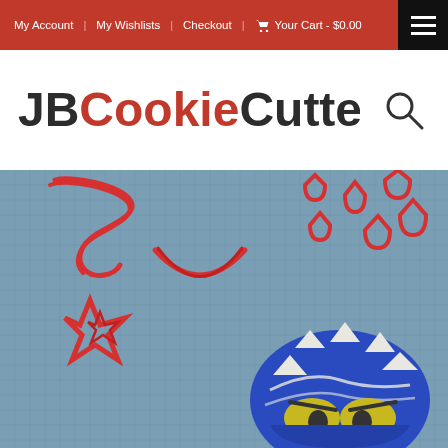My Account | My Wishlists | Checkout | Your Cart - $0.00
JBCookieCutters
[Figure (photo): Photo of red 3D-printed cookie cutters in various Mario-themed shapes (Blue Shell, Koopa shell, star, etc.) laid on a blue grid cutting mat, with a blue spiny shell decorated fondant cookie in the foreground]